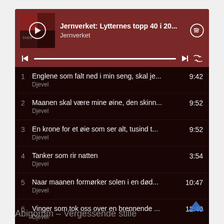[Figure (screenshot): Spotify playlist screenshot showing 'Jernverket: Lytternes topp 40 i 20...' playlist by Jernverket with 6 tracks listed: 1. Englene som falt ned i min seng, skal je... (Djevel) 9:42, 2. Maanen skal være mine øine, den skinn... (Djevel) 9:52, 3. En krone for et øie som ser alt, tusind t... (Djevel) 9:52, 4. Tanker som rir natten (Djevel) 3:54, 5. Naar maanen formørker solen i en død... (Djevel) 10:47, 6. Vinger som tok oss over en brennende ... (Djevel) 12:40]
Abigorum – Vergessende stille